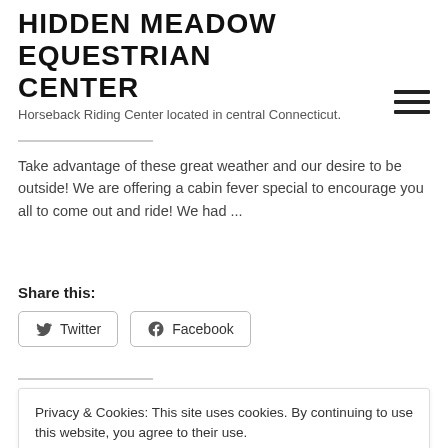HIDDEN MEADOW EQUESTRIAN CENTER
Horseback Riding Center located in central Connecticut.
Take advantage of these great weather and our desire to be outside! We are offering a cabin fever special to encourage you all to come out and ride! We had ...
Share this:
Privacy & Cookies: This site uses cookies. By continuing to use this website, you agree to their use.
To find out more, including how to control cookies, see here: Cookie Policy
Close and accept